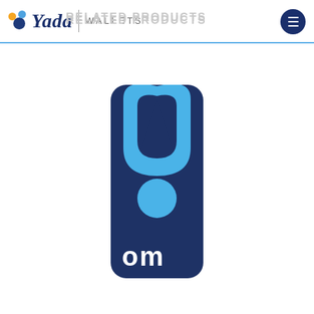[Figure (logo): Yada Wallets logo in header with colorful dots, italic script 'Yada', divider, 'WALLETS' text, and hamburger menu icon on dark blue circle]
RELATED PRODUCTS
[Figure (logo): Tall rounded rectangle product logo with dark navy background, light blue arc/horseshoe shape at top, dark navy triangle pointing down in center, light blue circle below triangle, and white partial text 'om' at bottom]